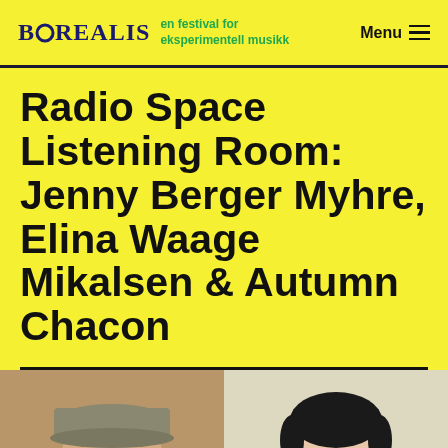BOREALIS en festival for eksperimentell musikk | Menu
Radio Space Listening Room: Jenny Berger Myhre, Elina Waage Mikalsen & Autumn Chacon
[Figure (photo): Two portrait photos side by side: left person wearing a grey cap, right person with dark hair pulled back wearing dangling earrings and red lipstick]